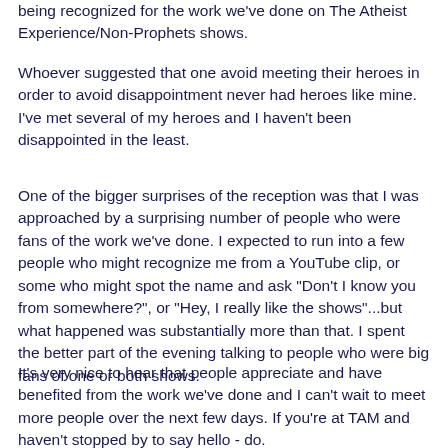being recognized for the work we've done on The Atheist Experience/Non-Prophets shows.
Whoever suggested that one avoid meeting their heroes in order to avoid disappointment never had heroes like mine. I've met several of my heroes and I haven't been disappointed in the least.
One of the bigger surprises of the reception was that I was approached by a surprising number of people who were fans of the work we've done. I expected to run into a few people who might recognize me from a YouTube clip, or some who might spot the name and ask "Don't I know you from somewhere?", or "Hey, I really like the shows"...but what happened was substantially more than that. I spent the better part of the evening talking to people who were big fans of one or both shows.
It's very nice to hear that people appreciate and have benefited from the work we've done and I can't wait to meet more people over the next few days. If you're at TAM and haven't stopped by to say hello - do.